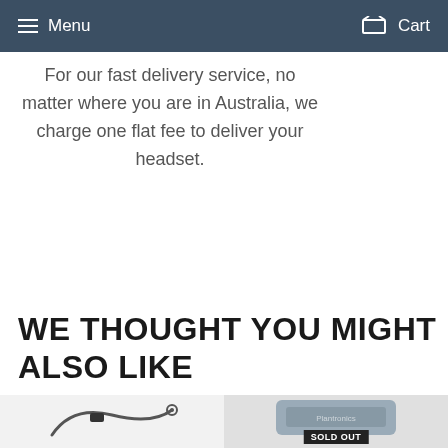Menu  Cart
For our fast delivery service, no matter where you are in Australia, we charge one flat fee to deliver your headset.
WE THOUGHT YOU MIGHT ALSO LIKE
[Figure (photo): Product image of a headset cable/adapter on the left, and a grey Plantronics device with 'SOLD OUT' badge on the right.]